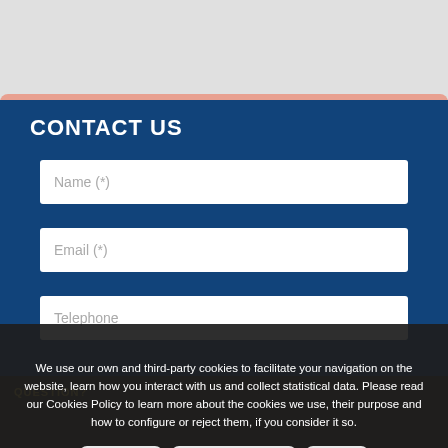CONTACT US
Name (*)
Email (*)
Telephone
QUESTION?
We use our own and third-party cookies to facilitate your navigation on the website, learn how you interact with us and collect statistical data. Please read our Cookies Policy to learn more about the cookies we use, their purpose and how to configure or reject them, if you consider it so.
Accept all
Manage Cookies
Reject